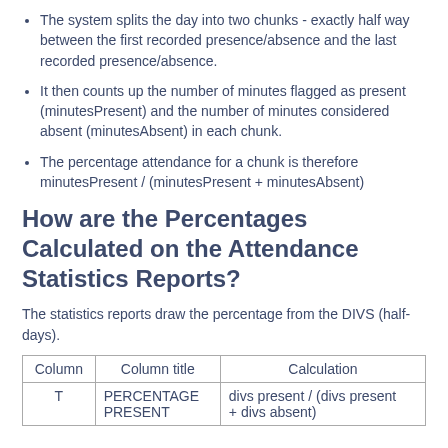The system splits the day into two chunks - exactly half way between the first recorded presence/absence and the last recorded presence/absence.
It then counts up the number of minutes flagged as present (minutesPresent) and the number of minutes considered absent (minutesAbsent) in each chunk.
The percentage attendance for a chunk is therefore minutesPresent / (minutesPresent + minutesAbsent)
How are the Percentages Calculated on the Attendance Statistics Reports?
The statistics reports draw the percentage from the DIVS (half-days).
| Column | Column title | Calculation |
| --- | --- | --- |
| T | PERCENTAGE PRESENT | divs present / (divs present + divs absent) |